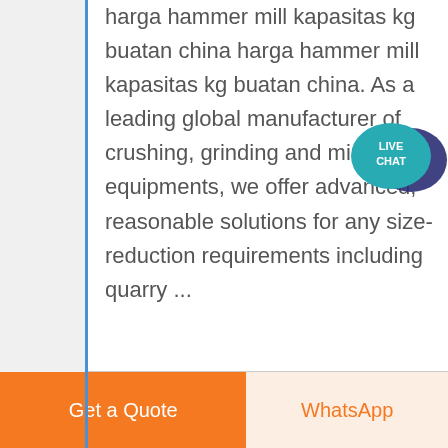harga hammer mill kapasitas kg buatan china harga hammer mill kapasitas kg buatan china. As a leading global manufacturer of crushing, grinding and mining equipments, we offer advanced, reasonable solutions for any size-reduction requirements including quarry ...
READ MORE
Get a Quote
WhatsApp